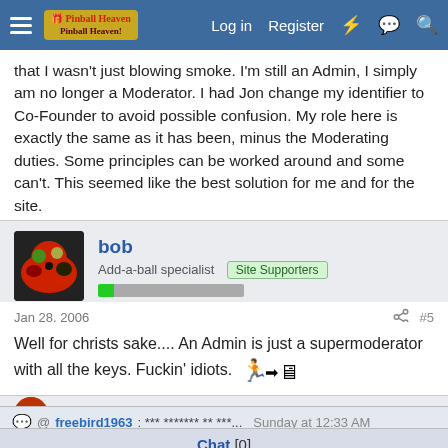Pinball Heaven forum navigation bar with Log in, Register links
that I wasn't just blowing smoke. I'm still an Admin, I simply am no longer a Moderator. I had Jon change my identifier to Co-Founder to avoid possible confusion. My role here is exactly the same as it has been, minus the Moderating duties. Some principles can be worked around and some can't. This seemed like the best solution for me and for the site.
bob
Add-a-ball specialist  Site Supporters
Jan 28, 2006  #5
Well for christs sake.... An Admin is just a supermoderator with all the keys. Fuckin' idiots.
@ freebird1963: *** ******* ** ***... Sunday at 12:33 AM
Chat [0]